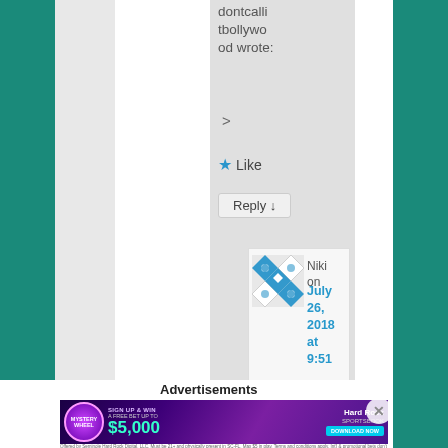dontcallitbollywood wrote:
>
★ Like
Reply ↵
Niki on July 26, 2018 at 9:51
Advertisements
[Figure (screenshot): Hard Rock Sportsbook advertisement banner: Mystery Wheel promotion, Sign Up & Win A Free Bet Up To $5,000, Download Now button]